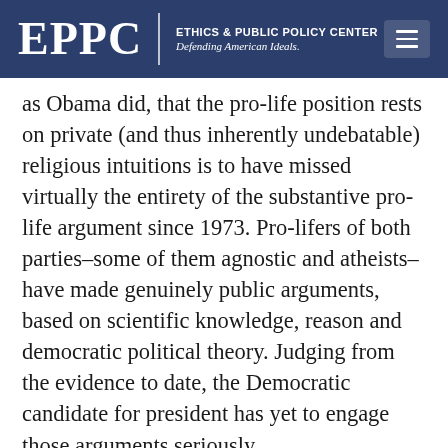EPPC | ETHICS & PUBLIC POLICY CENTER Defending American Ideals.
as Obama did, that the pro-life position rests on private (and thus inherently undebatable) religious intuitions is to have missed virtually the entirety of the substantive pro-life argument since 1973. Pro-lifers of both parties–some of them agnostic and atheists–have made genuinely public arguments, based on scientific knowledge, reason and democratic political theory. Judging from the evidence to date, the Democratic candidate for president has yet to engage those arguments seriously.
Then there are the multiple confusions of House